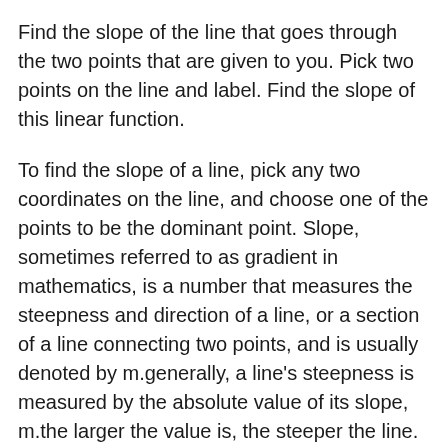Find the slope of the line that goes through the two points that are given to you. Pick two points on the line and label. Find the slope of this linear function.
To find the slope of a line, pick any two coordinates on the line, and choose one of the points to be the dominant point. Slope, sometimes referred to as gradient in mathematics, is a number that measures the steepness and direction of a line, or a section of a line connecting two points, and is usually denoted by m.generally, a line's steepness is measured by the absolute value of its slope, m.the larger the value is, the steeper the line. The slope of a line with two points a \((x_{1},y_{1})\) and b \((x_2,y_2)\) can be found by using this formula: